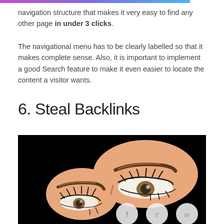navigation structure that makes it very easy to find any other page in under 3 clicks.
The navigational menu has to be clearly labelled so that it makes complete sense. Also, it is important to implement a good Search feature to make it even easier to locate the content a visitor wants.
6. Steal Backlinks
[Figure (illustration): Comic-style illustration of two pairs of angry/suspicious eyes on a black background, with social sharing buttons (Facebook, Twitter, LinkedIn) overlaid at the bottom.]